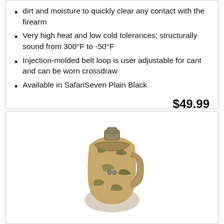dirt and moisture to quickly clear any contact with the firearm
Very high heat and low cold tolerances; structurally sound from 300°F to -50°F
Injection-molded belt loop is user adjustable for cant and can be worn crossdraw
Available in SafariSeven Plain Black
$49.99
Buy on Amazon
[Figure (photo): A camouflage-patterned gun holster photographed on white background]